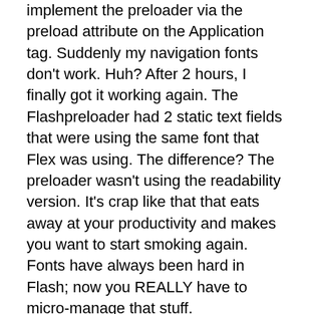implement the preloader via the preload attribute on the Application tag. Suddenly my navigation fonts don't work. Huh? After 2 hours, I finally got it working again. The Flashpreloader had 2 static text fields that were using the same font that Flex was using. The difference? The preloader wasn't using the readability version. It's crap like that that eats away at your productivity and makes you want to start smoking again. Fonts have always been hard in Flash; now you REALLY have to micro-manage that stuff.
Flex Builder caching is another gotcha. When you recompile in Flash, you have to refresh your Flex Builder project. I usually refresh the whole thing; I click on the Flex project base folder, and hit F5. This can take as long as the dreaded “Building 0%” you see on the bottom right of Flex Builder / Eclipse. Basically, it's just copying the updated SWF to your bin folder and/or re-compiling it into our main Flex SWF. This can drive you nuts if you are